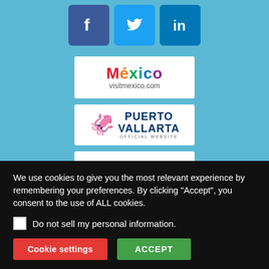[Figure (logo): Social media icons: Facebook (blue-purple square), Twitter (light blue square), LinkedIn (blue square)]
[Figure (logo): Mexico visitmexico.com logo with colorful text on white background]
[Figure (logo): Puerto Vallarta Official Website logo with seahorse icon on white background]
[Figure (logo): Riviera Nayarit logo with decorative emblem on white background]
We use cookies to give you the most relevant experience by remembering your preferences. By clicking “Accept”, you consent to the use of ALL cookies.
Do not sell my personal information.
Cookie settings   ACCEPT